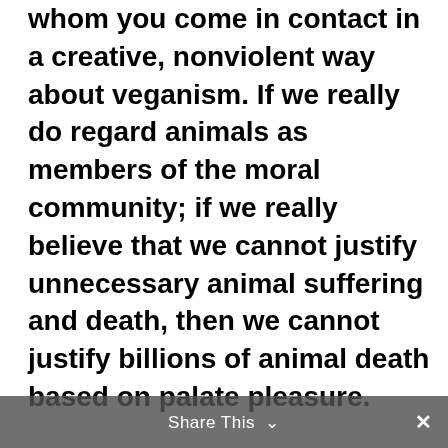whom you come in contact in a creative, nonviolent way about veganism. If we really do regard animals as members of the moral community; if we really believe that we cannot justify unnecessary animal suffering and death, then we cannot justify billions of animal death based on palate pleasure.

And please remember: veganism is not just a matter of reducing suffering; it's a matter of fundamental moral justice. It is what we owe to those who, like us, value their li...
Share This  ×